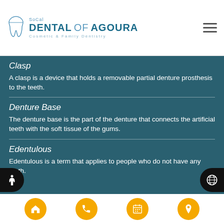SoCal DENTAL OF AGOURA Cosmetic & Family Dentistry
Clasp
A clasp is a device that holds a removable partial denture prosthesis to the teeth.
Denture Base
The denture base is the part of the denture that connects the artificial teeth with the soft tissue of the gums.
Edentulous
Edentulous is a term that applies to people who do not have any teeth.
Home | Phone | Calendar | Location